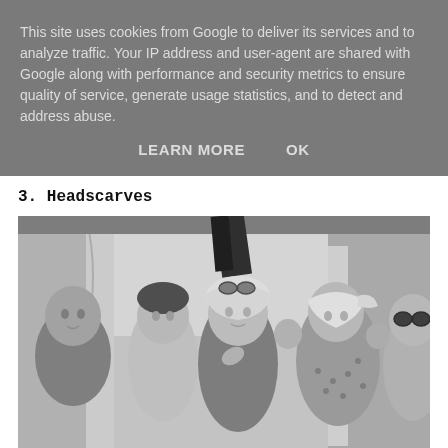This site uses cookies from Google to deliver its services and to analyze traffic. Your IP address and user-agent are shared with Google along with performance and security metrics to ensure quality of service, generate usage statistics, and to detect and address abuse.
LEARN MORE   OK
3.  Headscarves
[Figure (photo): Black and white photograph of a group of people walking on a street. In the center is a woman wearing a white headscarf with sunglasses on top, a dark t-shirt, with her hand raised to her chin. To her right is a woman wearing a white headscarf tied around her head. On the left side are two males. Background shows a white-walled street with arched architecture.]